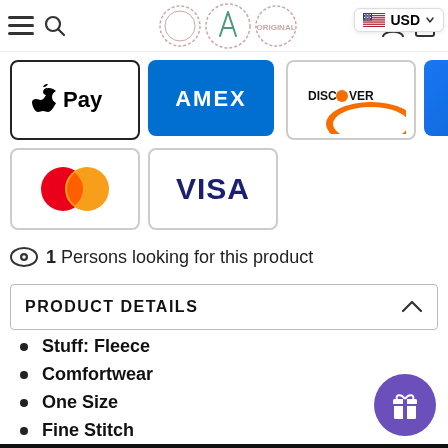Navigation bar with menu, search, logo, user, cart icons and USD currency selector
[Figure (logo): Apple Pay logo on white card with black border]
[Figure (logo): American Express (AMEX) logo on blue card]
[Figure (logo): Discover card logo on white card]
[Figure (logo): Forter (f) logo on blue card]
[Figure (logo): Mastercard logo on white card]
[Figure (logo): Visa logo on white card]
1 Persons looking for this product
PRODUCT DETAILS
Stuff: Fleece
Comfortwear
One Size
Fine Stitch